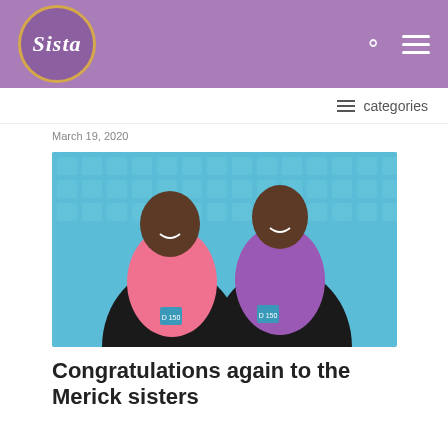Sista
≡  categories
March 19, 2020
[Figure (photo): Two young women in athletic wear (one in pink, one in purple) sitting in front of blue stadium seats, smiling at the camera.]
Congratulations again to the Merick sisters